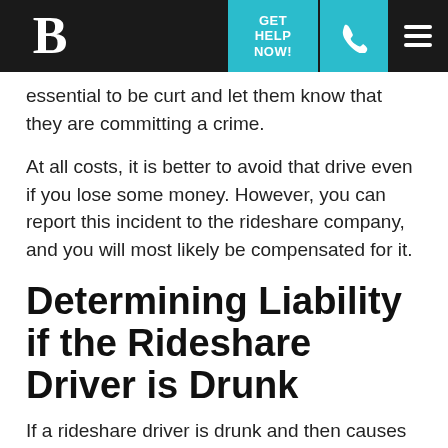B | GET HELP NOW! [phone] [menu]
essential to be curt and let them know that they are committing a crime.
At all costs, it is better to avoid that drive even if you lose some money. However, you can report this incident to the rideshare company, and you will most likely be compensated for it.
Determining Liability if the Rideshare Driver is Drunk
If a rideshare driver is drunk and then causes an accident, there are specified guidelines